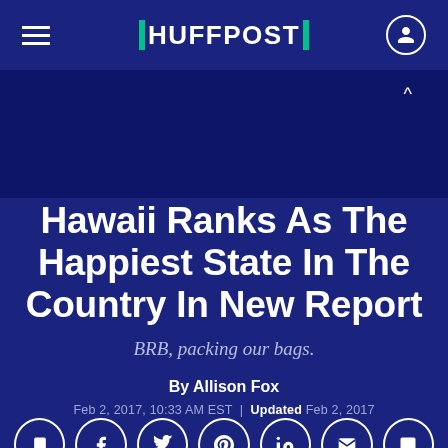HUFFPOST
Hawaii Ranks As The Happiest State In The Country In New Report
BRB, packing our bags.
By Allison Fox
Feb 2, 2017, 10:33 AM EST | Updated Feb 2, 2017
[Figure (infographic): Row of 7 social sharing icon buttons (bookmark, Facebook, Twitter, Pinterest, LinkedIn, email, comment) in white circle outlines on dark blue background]